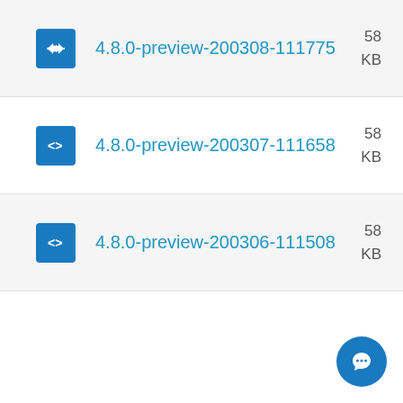4.8.0-preview-200308-111775  58... KB
4.8.0-preview-200307-111658  58... KB
4.8.0-preview-200306-111508  58... KB